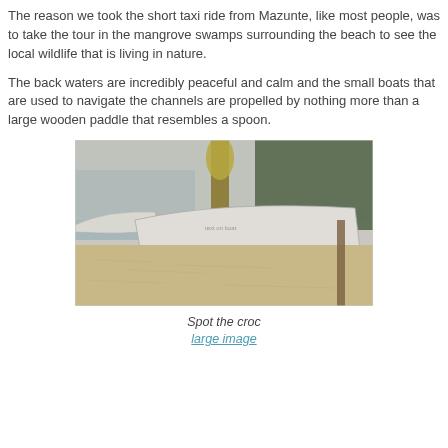The reason we took the short taxi ride from Mazunte, like most people, was to take the tour in the mangrove swamps surrounding the beach to see the local wildlife that is living in nature.
The back waters are incredibly peaceful and calm and the small boats that are used to navigate the channels are propelled by nothing more than a large wooden paddle that resembles a spoon.
[Figure (photo): Two small wooden boats on a sandy beach near calm water with trees in the background, a tall palm-like plant in the center background.]
Spot the croc
large image